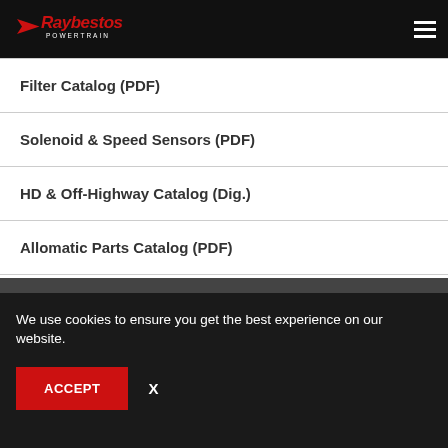Raybestos Powertrain
Filter Catalog (PDF)
Solenoid & Speed Sensors (PDF)
HD & Off-Highway Catalog (Dig.)
Allomatic Parts Catalog (PDF)
We use cookies to ensure you get the best experience on our website.
ACCEPT
X